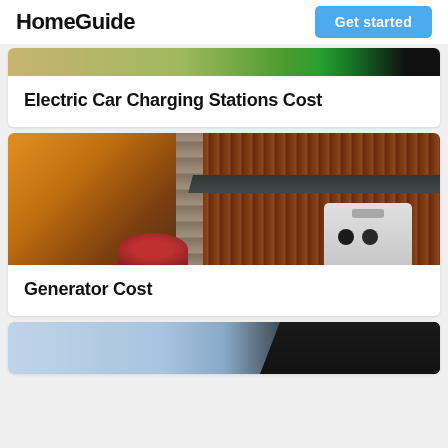HomeGuide
[Figure (screenshot): Partial image of electric car charging station, cropped at top]
Electric Car Charging Stations Cost
[Figure (photo): Photo of a home generator installed outside a house with wooden fence backdrop]
Generator Cost
[Figure (photo): Partial photo showing sky and person in dark clothing, cropped at bottom of page]